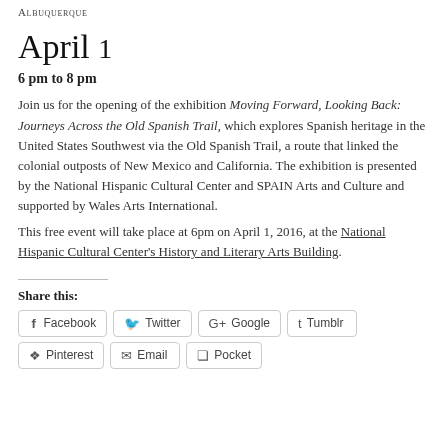Albuquerque
April 1
6 pm to 8 pm
Join us for the opening of the exhibition Moving Forward, Looking Back: Journeys Across the Old Spanish Trail, which explores Spanish heritage in the United States Southwest via the Old Spanish Trail, a route that linked the colonial outposts of New Mexico and California. The exhibition is presented by the National Hispanic Cultural Center and SPAIN Arts and Culture and supported by Wales Arts International.
This free event will take place at 6pm on April 1, 2016, at the National Hispanic Cultural Center's History and Literary Arts Building.
Share this:
Facebook  Twitter  Google  Tumblr  Pinterest  Email  Pocket